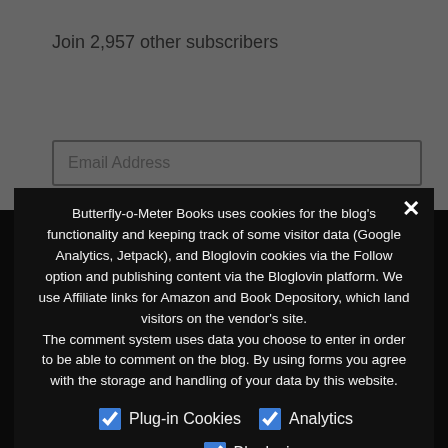Join 2,957 other subscribers
Email Address
Butterfly-o-Meter Books uses cookies for the blog's functionality and keeping track of some visitor data (Google Analytics, Jetpack), and Bloglovin cookies via the Follow option and publishing content via the Bloglovin platform. We use Affiliate links for Amazon and Book Depository, which land visitors on the vendor's site.
The comment system uses data you choose to enter in order to be able to comment on the blog. By using forms you agree with the storage and handling of your data by this website.
Plug-in Cookies
Analytics
Bloglovin
Privacy Preferences
I Agree
Cookie Settings
We use cookies on our website to give you the most relevant experience by remembering your preferences and repeat visits. By clicking "Accept", you consent to the use of ALL the cookies. However, you may visit "Cookie Settings" to provide a controlled consent.